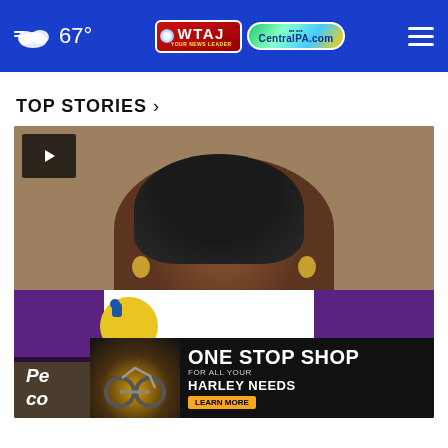67° — OWTAJ Your News Leader / CentralPA.com
TOP STORIES ›
[Figure (photo): Video thumbnail showing a woman holding a protest sign with purple and yellow 'NOW' letters, with a play button overlay in the top-left corner and an X close button.]
Pe... con...
[Figure (infographic): Advertisement banner: ONE STOP SHOP FOR ALL YOUR HARLEY NEEDS — LEARN MORE, with motorcycle imagery on the left.]